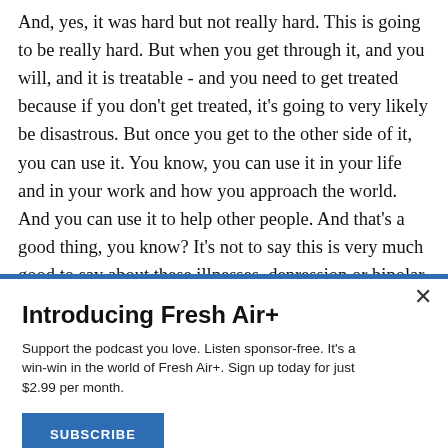And, yes, it was hard but not really hard. This is going to be really hard. But when you get through it, and you will, and it is treatable - and you need to get treated because if you don't get treated, it's going to very likely be disastrous. But once you get to the other side of it, you can use it. You know, you can use it in your life and in your work and how you approach the world. And you can use it to help other people. And that's a good thing, you know? It's not to say this is very much good to say about these illnesses, depression or bipolar ill...
Introducing Fresh Air+
Support the podcast you love. Listen sponsor-free. It's a win-win in the world of Fresh Air+. Sign up today for just $2.99 per month.